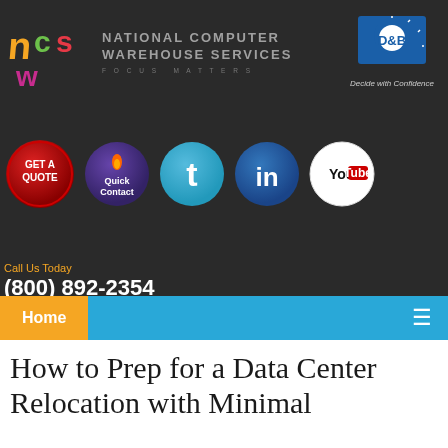[Figure (logo): NCW (National Computer Warehouse Services) logo with colorful swirl letters and D&B Decide with Confidence badge]
[Figure (infographic): Row of social media / action buttons: GET A QUOTE (red), Quick Contact (purple with flame), Twitter (light blue), LinkedIn (dark blue), YouTube (white)]
Call Us Today
(800) 892-2354
info@nationalcws.com
Home
How to Prep for a Data Center Relocation with Minimal